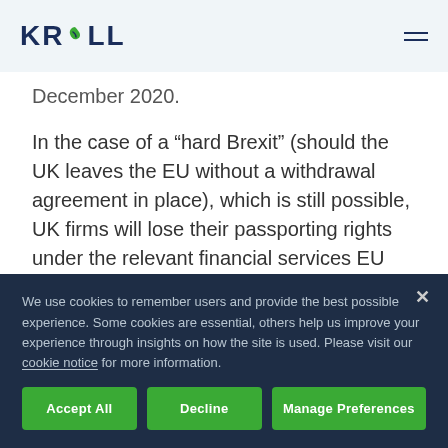KROLL
December 2020.
In the case of a “hard Brexit” (should the UK leaves the EU without a withdrawal agreement in place), which is still possible, UK firms will lose their passporting rights under the relevant financial services EU single
We use cookies to remember users and provide the best possible experience. Some cookies are essential, others help us improve your experience through insights on how the site is used. Please visit our cookie notice for more information.